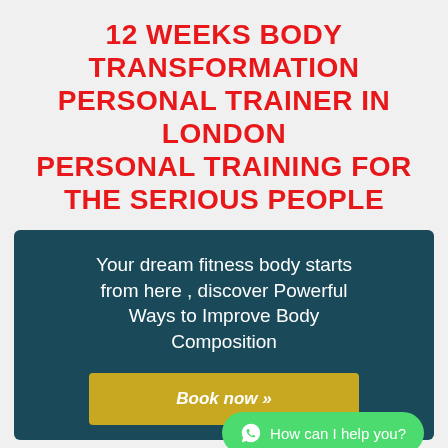12 WEEKS BODY TRANSFORMATION PERSONAL TRAINER IN LONDON PERSONAL TRAINING FOR THE SERIOUS PEOPLE
[Figure (infographic): Dark teal banner with white promotional text and a yellow 'Book now' button, plus a green WhatsApp chat bubble.]